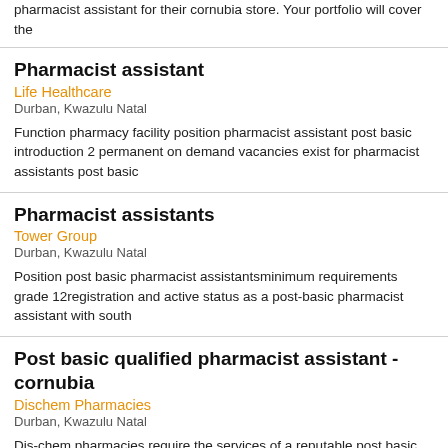pharmacist assistant for their cornubia store. Your portfolio will cover the
Pharmacist assistant
Life Healthcare
Durban, Kwazulu Natal
Function pharmacy facility position pharmacist assistant post basic introduction 2 permanent on demand vacancies exist for pharmacist assistants post basic
Pharmacist assistants
Tower Group
Durban, Kwazulu Natal
Position post basic pharmacist assistantsminimum requirements grade 12registration and active status as a post-basic pharmacist assistant with south
Post basic qualified pharmacist assistant - cornubia
Dischem Pharmacies
Durban, Kwazulu Natal
Dis-chem pharmacies require the services of a reputable post basic qualify pharmacist assistant for their cornubia store. Your portfolio will cover the
Post basic pharmacist assistants